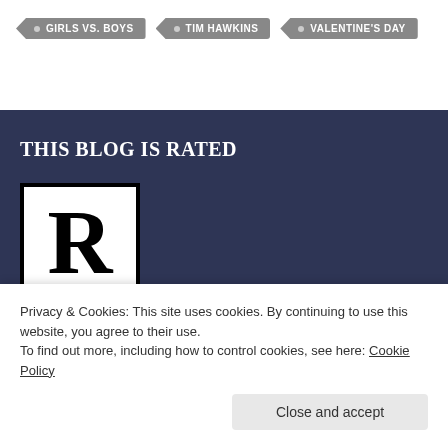GIRLS VS. BOYS
TIM HAWKINS
VALENTINE'S DAY
THIS BLOG IS RATED
[Figure (other): Rating box showing large bold letter R in black on white background with black border, styled like a movie rating badge]
for Strong Christian Content, Theological Language, and Politically Incorrect Material
Privacy & Cookies: This site uses cookies. By continuing to use this website, you agree to their use.
To find out more, including how to control cookies, see here: Cookie Policy
Close and accept